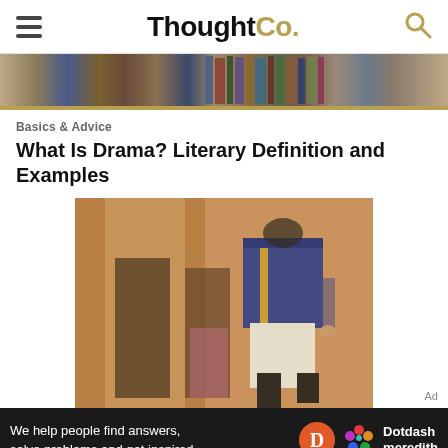ThoughtCo.
[Figure (photo): Bookshelf with books in background]
Basics & Advice
What Is Drama? Literary Definition and Examples
[Figure (photo): Theater performers on stage; a figure in a blue military jacket and white pants with black boots stands prominently in the foreground, other costumed performers visible in soft focus background with warm amber/orange lighting]
We help people find answers, solve problems and get inspired. Dotdash meredith